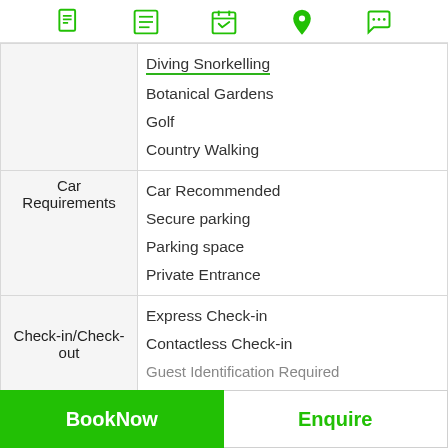[Figure (other): Navigation icon bar with 5 green icons: document, list, calendar, location pin, chat bubble]
| Category | Items |
| --- | --- |
|  | Diving Snorkelling
Botanical Gardens
Golf
Country Walking |
| Car Requirements | Car Recommended
Secure parking
Parking space
Private Entrance |
| Check-in/Check-out | Express Check-in
Contactless Check-in
Guest Identification Required |
BookNow
Enquire